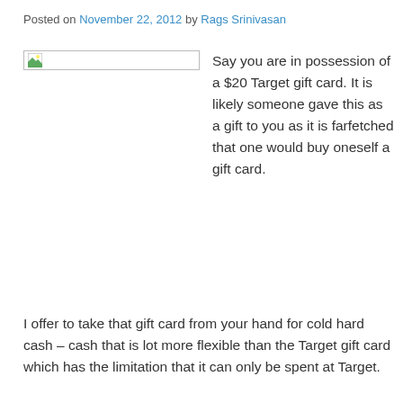Posted on November 22, 2012 by Rags Srinivasan
[Figure (other): Broken image placeholder with border]
Say you are in possession of a $20 Target gift card. It is likely someone gave this as a gift to you as it is farfetched that one would buy oneself a gift card.
I offer to take that gift card from your hand for cold hard cash – cash that is lot more flexible than the Target gift card which has the limitation that it can only be spent at Target.